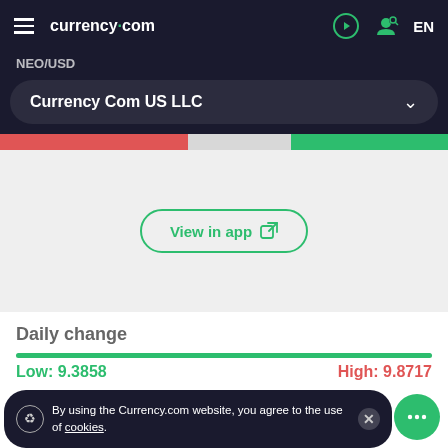currency.com  EN
NEO/USD
Currency Com US LLC
[Figure (screenshot): Chart area placeholder with a 'View in app' button with external link icon]
Daily change
Low: 9.3858
High: 9.8717
By using the Currency.com website, you agree to the use of cookies.